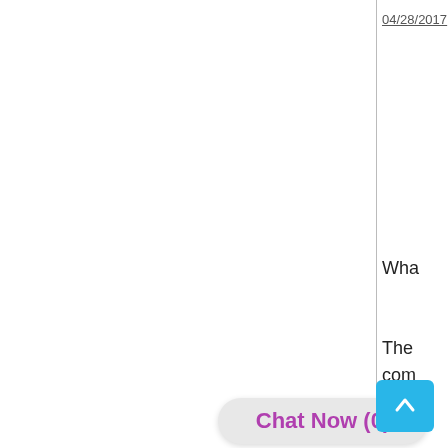04/28/2017
Wha
The
com
[Figure (screenshot): Blue scroll-to-top button with upward arrow icon]
[Figure (screenshot): Chat Now (0) button in purple text on light gray rounded rectangle background]